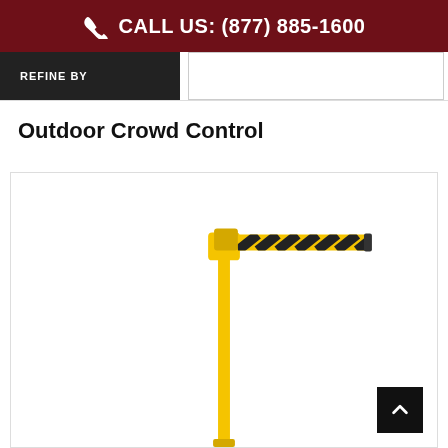CALL US: (877) 885-1600
Outdoor Crowd Control
[Figure (photo): Yellow outdoor crowd control stanchion post with a yellow and black diagonal-striped retractable belt extended horizontally to the right.]